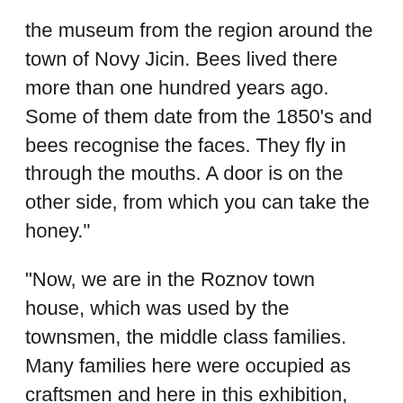the museum from the region around the town of Novy Jicin. Bees lived there more than one hundred years ago. Some of them date from the 1850's and bees recognise the faces. They fly in through the mouths. A door is on the other side, from which you can take the honey."
"Now, we are in the Roznov town house, which was used by the townsmen, the middle class families. Many families here were occupied as craftsmen and here in this exhibition, we are displaying the house of a tailor. The house, though, was only used by the family on the ground floor. The main floor upstairs was used by summer guests who came to Roznov for their spa, to be cured because Roznov was the climatic spa. It was officially started in 1820. Tuberculosis, lung diseases and breathing problems were treated here thanks to climatic conditions that were comparable to those in spas in Switzerland and Italy. Even Mr Gregor Mendel